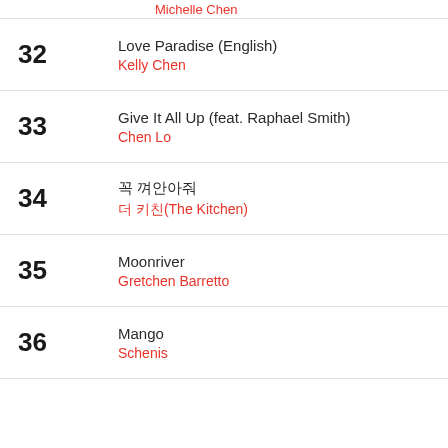32 Love Paradise (English) / Kelly Chen
33 Give It All Up (feat. Raphael Smith) / Chen Lo
34 꼭 껴안아줘 / 더 키친(The Kitchen)
35 Moonriver / Gretchen Barretto
36 Mango / Schenis